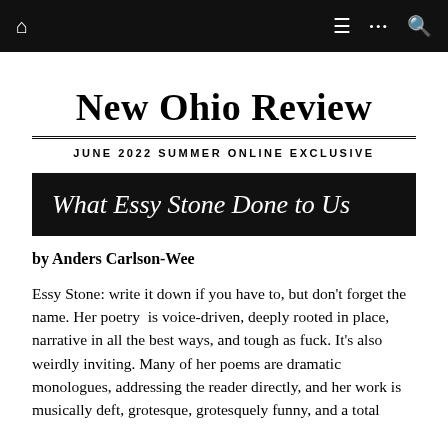New Ohio Review — navigation bar
New Ohio Review
JUNE 2022 SUMMER ONLINE EXCLUSIVE
What Essy Stone Done to Us
by Anders Carlson-Wee
Essy Stone: write it down if you have to, but don't forget the name. Her poetry  is voice-driven, deeply rooted in place, narrative in all the best ways, and tough as fuck. It's also weirdly inviting. Many of her poems are dramatic monologues, addressing the reader directly, and her work is musically deft, grotesque, grotesquely funny, and a total